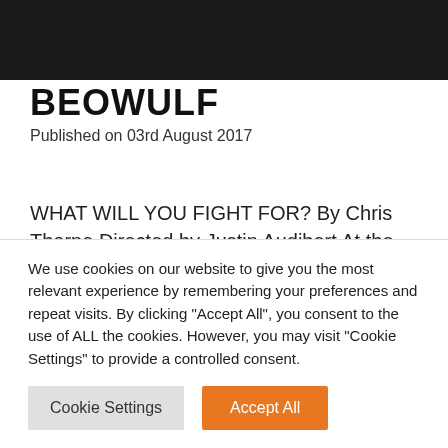[Figure (photo): Dark/black image banner at the top of the page]
BEOWULF
Published on 03rd August 2017
WHAT WILL YOU FIGHT FOR? By Chris Thorpe Directed by Justin Audibert At the end of this tale, I'll go to fight a dragon. And I will be no more. Beowulf is the longest surviving epic poem in Old English. Writer Chris Thorpe (Victory Condition, Confirmation at Royal Court) shines a new
We use cookies on our website to give you the most relevant experience by remembering your preferences and repeat visits. By clicking "Accept All", you consent to the use of ALL the cookies. However, you may visit "Cookie Settings" to provide a controlled consent.
Cookie Settings | Accept All